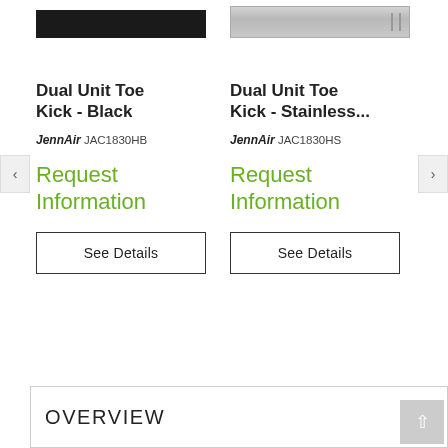[Figure (photo): Product image of Dual Unit Toe Kick in black finish]
[Figure (photo): Product image of Dual Unit Toe Kick in stainless steel finish]
Dual Unit Toe Kick - Black
Dual Unit Toe Kick - Stainless...
JennAir JAC1830HB
JennAir JAC1830HS
Request Information
Request Information
See Details
See Details
OVERVIEW